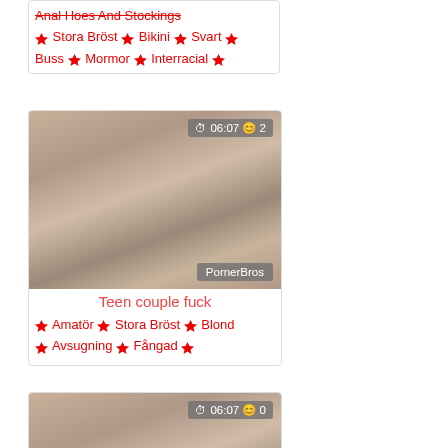Anal Hoes And Stockings ♦ Stora Bröst ♦ Bikini ♦ Svart ♦ Buss ♦ Mormor ♦ Interracial ♦
[Figure (photo): Teen couple video thumbnail with PornerBros watermark, duration 06:07, 2 views]
Teen couple fuck ♦ Amatör ♦ Stora Bröst ♦ Blond ♦ Avsugning ♦ Fångad ♦
[Figure (photo): Teen couple video thumbnail with PornerBros watermark, duration 06:07, 0 views]
Teen couple fuck